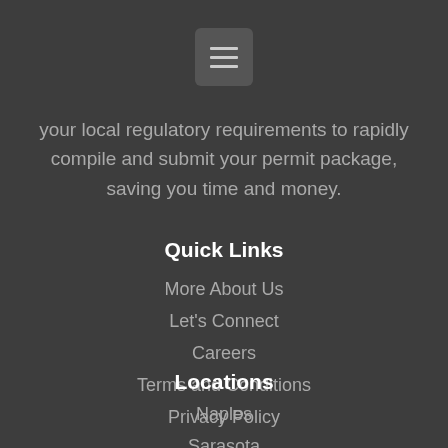[Figure (other): Hamburger menu button icon with three horizontal lines on a dark rounded square background]
your local regulatory requirements to rapidly compile and submit your permit package, saving you time and money.
Quick Links
More About Us
Let's Connect
Careers
Terms and Conditions
Privacy Policy
Locations
Naples
Sarasota